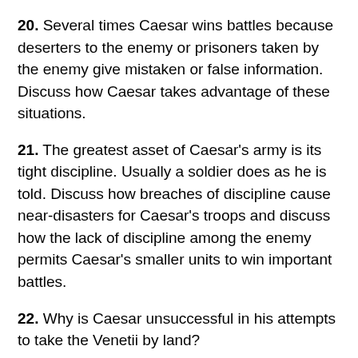20. Several times Caesar wins battles because deserters to the enemy or prisoners taken by the enemy give mistaken or false information. Discuss how Caesar takes advantage of these situations.
21. The greatest asset of Caesar’s army is its tight discipline. Usually a soldier does as he is told. Discuss how breaches of discipline cause near-disasters for Caesar’s troops and discuss how the lack of discipline among the enemy permits Caesar’s smaller units to win important battles.
22. Why is Caesar unsuccessful in his attempts to take the Venetii by land?
23. Why does Caesar send Galba to open a free road through the Alps?
24. Describe the kind of attack fortification Caesar’s troops